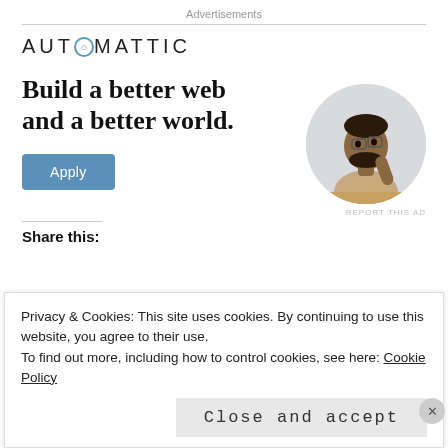Advertisements
[Figure (logo): Automattic logo with stylized letter O in circle]
Build a better web and a better world.
[Figure (photo): Circular photo of a man thinking, resting his chin on his hand]
Apply
REPORT THIS AD
Share this:
Privacy & Cookies: This site uses cookies. By continuing to use this website, you agree to their use.
To find out more, including how to control cookies, see here: Cookie Policy
Close and accept